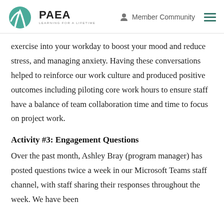PAEA — Learning for a Lifetime | Member Community
exercise into your workday to boost your mood and reduce stress, and managing anxiety. Having these conversations helped to reinforce our work culture and produced positive outcomes including piloting core work hours to ensure staff have a balance of team collaboration time and time to focus on project work.
Activity #3: Engagement Questions
Over the past month, Ashley Bray (program manager) has posted questions twice a week in our Microsoft Teams staff channel, with staff sharing their responses throughout the week. We have been